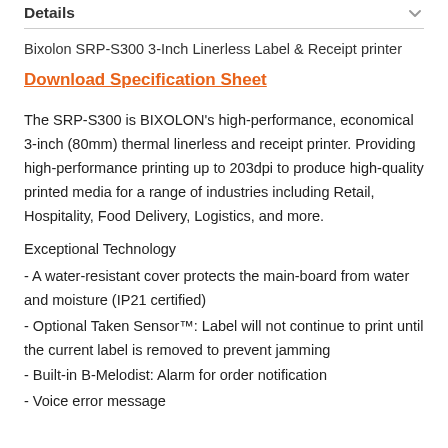Details
Bixolon SRP-S300 3-Inch Linerless Label & Receipt printer
Download Specification Sheet
The SRP-S300 is BIXOLON's high-performance, economical 3-inch (80mm) thermal linerless and receipt printer. Providing high-performance printing up to 203dpi to produce high-quality printed media for a range of industries including Retail, Hospitality, Food Delivery, Logistics, and more.
Exceptional Technology
- A water-resistant cover protects the main-board from water and moisture (IP21 certified)
- Optional Taken Sensor™: Label will not continue to print until the current label is removed to prevent jamming
- Built-in B-Melodist: Alarm for order notification
- Voice error message